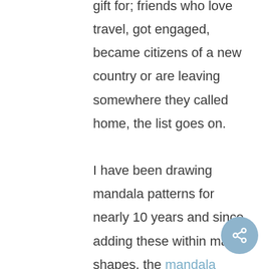gift for; friends who love travel, got engaged, became citizens of a new country or are leaving somewhere they called home, the list goes on.

I have been drawing mandala patterns for nearly 10 years and since adding these within map shapes, the mandala maps have become one of our most popular items at Bright Delights.

The World Map Mandala Illustration has been such a beautiful design for so many of you. I have loved adding personalised details to make your gifts even more